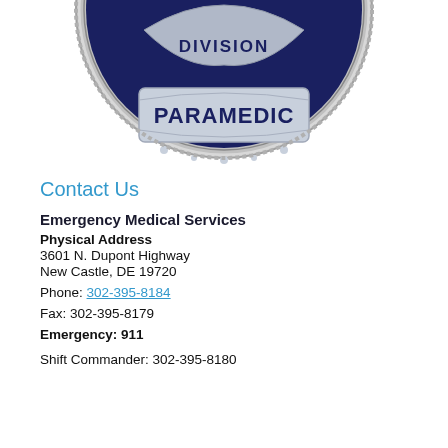[Figure (logo): Paramedic division badge/shield — circular dark navy blue badge with silver border, text 'DIVISION' at top and 'PARAMEDIC' on a silver banner in the center]
Contact Us
Emergency Medical Services
Physical Address
3601 N. Dupont Highway
New Castle, DE 19720
Phone: 302-395-8184
Fax: 302-395-8179
Emergency: 911
Shift Commander: 302-395-8180